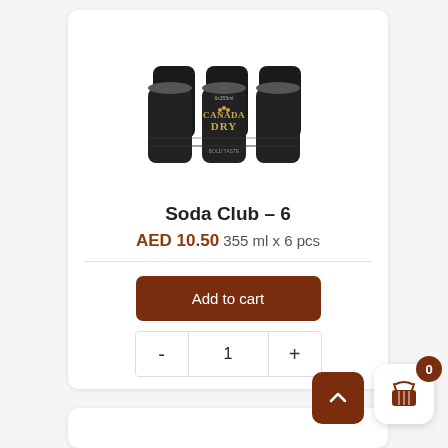[Figure (photo): Canada Dry 6-pack of black cans (355ml each)]
Soda Club – 6
AED 10.50 355 ml x 6 pcs
[Figure (other): Add to cart button and quantity selector (-  1  +)]
[Figure (other): Floating action buttons: scroll-up button (brown) and cart button (white) with badge showing 0]